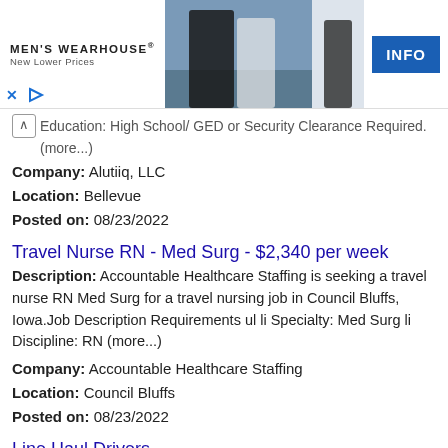[Figure (other): Men's Wearhouse advertisement banner with logo, couple in formal wear, suit figure, and INFO button]
Education: High School/ GED or Security Clearance Required. (more...)
Company: Alutiiq, LLC
Location: Bellevue
Posted on: 08/23/2022
Travel Nurse RN - Med Surg - $2,340 per week
Description: Accountable Healthcare Staffing is seeking a travel nurse RN Med Surg for a travel nursing job in Council Bluffs, Iowa.Job Description Requirements ul li Specialty: Med Surg li Discipline: RN (more...)
Company: Accountable Healthcare Staffing
Location: Council Bluffs
Posted on: 08/23/2022
Line Haul Drivers
Description: Line Haul Drivers br br Line Haul drivers with Class
Company: Confidential
Location: Bellevue
Posted on: 08/23/2022